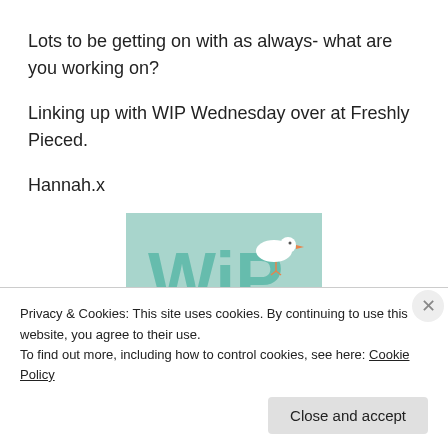Lots to be getting on with as always- what are you working on?
Linking up with WIP Wednesday over at Freshly Pieced.
Hannah.x
[Figure (illustration): WiP Wednesday logo - teal/mint background with 'WiP' in large teal lettering, a white bird, 'wednesday' in cursive teal script, 'at' in small teal text, and 'FreshlyPieced' in orange cursive at the bottom.]
Privacy & Cookies: This site uses cookies. By continuing to use this website, you agree to their use.
To find out more, including how to control cookies, see here: Cookie Policy
Close and accept